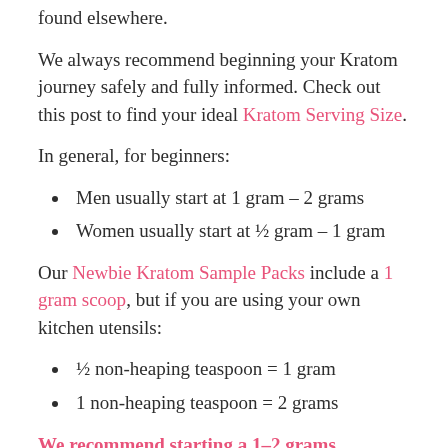found elsewhere.
We always recommend beginning your Kratom journey safely and fully informed. Check out this post to find your ideal Kratom Serving Size.
In general, for beginners:
Men usually start at 1 gram – 2 grams
Women usually start at ½ gram – 1 gram
Our Newbie Kratom Sample Packs include a 1 gram scoop, but if you are using your own kitchen utensils:
½ non-heaping teaspoon = 1 gram
1 non-heaping teaspoon = 2 grams
We recommend starting a 1–2 grams.
Adjust future Kratom serving size, if needed, in ½ gram increments.